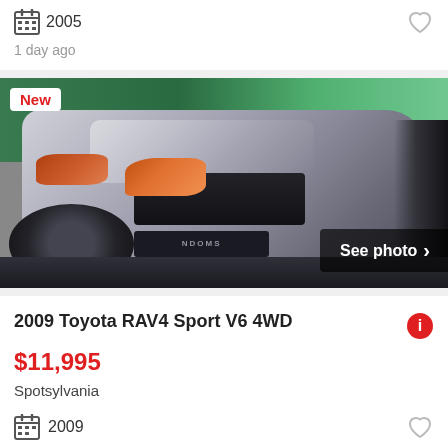2005
1 day ago
[Figure (photo): Silver Toyota RAV4 front view in parking area, showing hood, grill, headlights and front bumper. 'New' badge top-left, 'See photo >' overlay bottom-right.]
2009 Toyota RAV4 Sport V6 4WD
$11,995
Spotsylvania
2009
1 day ago